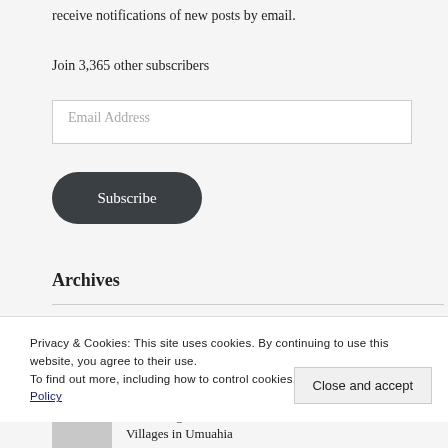receive notifications of new posts by email.
Join 3,365 other subscribers
Email Address
Subscribe
Archives
Privacy & Cookies: This site uses cookies. By continuing to use this website, you agree to their use.
To find out more, including how to control cookies, see here: Cookie Policy
Close and accept
Ibeku Ewgu Asaa: 7 Clans and Villages in Umuahia